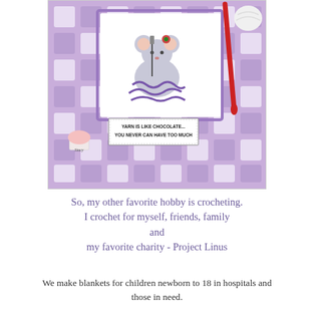[Figure (photo): A crafting card featuring a cute crocheting mouse illustration on a purple checkered background. The card has a sentiment that reads 'YARN IS LIKE CHOCOLATE... YOU NEVER CAN HAVE TOO MUCH'. A red crochet hook and white yarn are visible beside the card.]
So, my other favorite hobby is crocheting.
I crochet for myself, friends, family
and
my favorite charity - Project Linus
We make blankets for children newborn to 18 in hospitals and those in need.